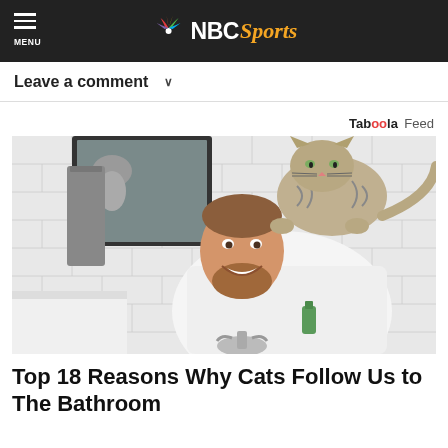NBC Sports
Leave a comment
Taboola Feed
[Figure (photo): A smiling bearded man in a white shirt leaning over a bathroom sink while a tabby cat stands on his head/shoulders. White subway tile walls, a dark-framed mirror, and a gray towel visible in the background.]
Top 18 Reasons Why Cats Follow Us to The Bathroom